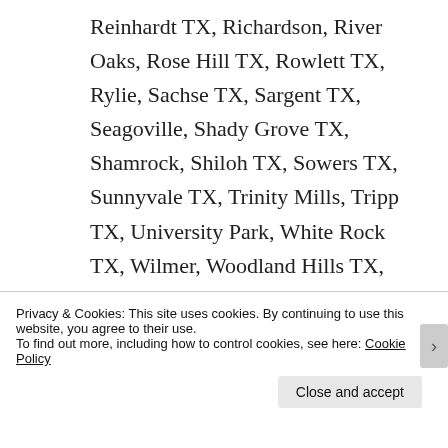Reinhardt TX, Richardson, River Oaks, Rose Hill TX, Rowlett TX, Rylie, Sachse TX, Sargent TX, Seagoville, Shady Grove TX, Shamrock, Shiloh TX, Sowers TX, Sunnyvale TX, Trinity Mills, Tripp TX, University Park, White Rock TX, Wilmer, Woodland Hills TX, Zacha Junction TX,Bat, bats, bat in attic, attic bat, attic, coon, raccoon,
Privacy & Cookies: This site uses cookies. By continuing to use this website, you agree to their use.
To find out more, including how to control cookies, see here: Cookie Policy
Close and accept